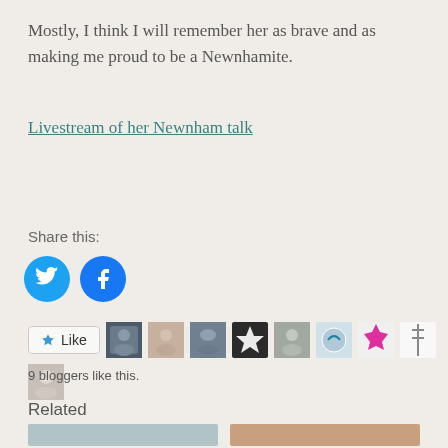Mostly, I think I will remember her as brave and as making me proud to be a Newnhamite.
Livestream of her Newnham talk
Share this:
[Figure (infographic): Twitter and Facebook share icon buttons (blue circles with white bird and f icons)]
[Figure (infographic): Like button with star icon followed by 9 blogger avatar thumbnails]
9 bloggers like this.
Related
[Figure (photo): Two small related post thumbnail images at bottom of page]